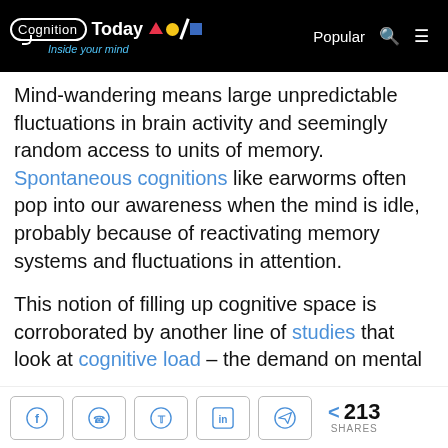Cognition Today | Inside your mind | Popular
Mind-wandering means large unpredictable fluctuations in brain activity and seemingly random access to units of memory. Spontaneous cognitions like earworms often pop into our awareness when the mind is idle, probably because of reactivating memory systems and fluctuations in attention.

This notion of filling up cognitive space is corroborated by another line of studies that look at cognitive load – the demand on mental
< 213 SHARES